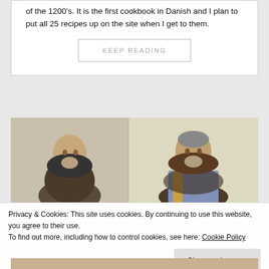of the 1200's. It is the first cookbook in Danish and I plan to put all 25 recipes up on the site when I get to them.
KEEP READING
[Figure (photo): Two medieval monk illustrations side by side. Left monk in dark robes on gray background; right monk in dark hood with colorful robe on pale yellow background.]
Privacy & Cookies: This site uses cookies. By continuing to use this website, you agree to their use.
To find out more, including how to control cookies, see here: Cookie Policy
Close and accept